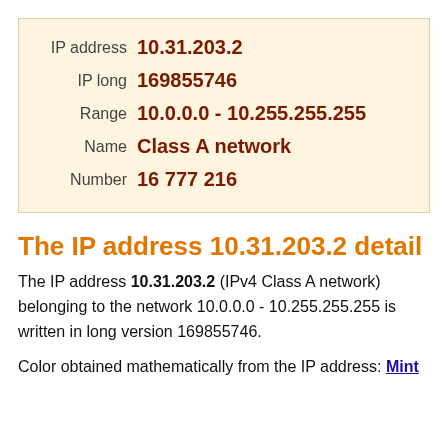| IP address | 10.31.203.2 |
| IP long | 169855746 |
| Range | 10.0.0.0 - 10.255.255.255 |
| Name | Class A network |
| Number | 16 777 216 |
The IP address 10.31.203.2 detail
The IP address 10.31.203.2 (IPv4 Class A network) belonging to the network 10.0.0.0 - 10.255.255.255 is written in long version 169855746.
Color obtained mathematically from the IP address: Mint